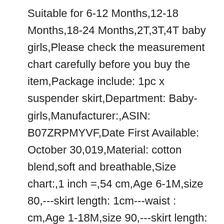Suitable for 6-12 Months,12-18 Months,18-24 Months,2T,3T,4T baby girls,Please check the measurement chart carefully before you buy the item,Package include: 1pc x suspender skirt,Department: Baby-girls,Manufacturer:,ASIN: B07ZRPMYVF,Date First Available: October 30,019,Material: cotton blend,soft and breathable,Size chart:,1 inch =,54 cm,Age 6-1M,size 80,---skirt length: 1cm---waist : cm,Age 1-18M,size 90,---skirt length: 3cm---waist : 3cm,Age 18-4M,size 100,---skirt length: 5cm---waist : 4cm,Age -3T,size 110,---skirt length: 7cm---waist : 5cm,Age 3-4T,size 10,---skirt length: 9cm---waist : 6cm,Package include: 1pc x suspender skirt,Note:,1,There is -3% difference according to manual measurement,Please note that slight color difference should be acceptable due to the light and